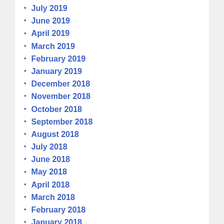July 2019
June 2019
April 2019
March 2019
February 2019
January 2019
December 2018
November 2018
October 2018
September 2018
August 2018
July 2018
June 2018
May 2018
April 2018
March 2018
February 2018
January 2018
December 2017
November 2017
October 2017
September 2017